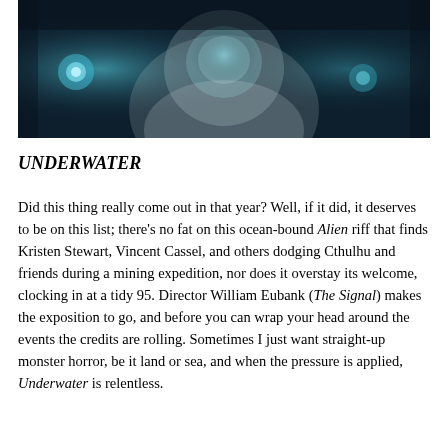[Figure (photo): A person in a white space/diving suit with a helmet, lit with blue-green tones against a dark background. The subject's face is partially visible inside the helmet.]
UNDERWATER
Did this thing really come out in that year? Well, if it did, it deserves to be on this list; there's no fat on this ocean-bound Alien riff that finds Kristen Stewart, Vincent Cassel, and others dodging Cthulhu and friends during a mining expedition, nor does it overstay its welcome, clocking in at a tidy 95. Director William Eubank (The Signal) makes the exposition to go, and before you can wrap your head around the events the credits are rolling. Sometimes I just want straight-up monster horror, be it land or sea, and when the pressure is applied, Underwater is relentless.